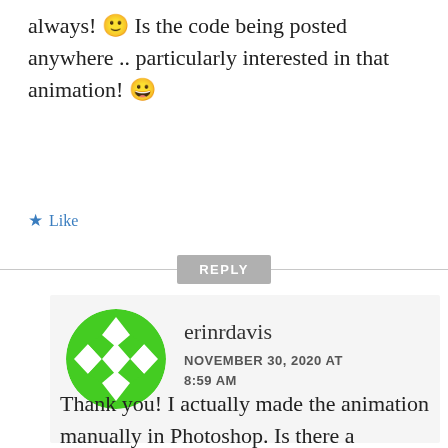always! 🙂 Is the code being posted anywhere .. particularly interested in that animation! 😀
★ Like
REPLY
[Figure (illustration): Green circular avatar with geometric diamond/arrow pattern for user erinrdavis]
erinrdavis
NOVEMBER 30, 2020 AT 8:59 AM
Thank you! I actually made the animation manually in Photoshop. Is there a particular piece of code you